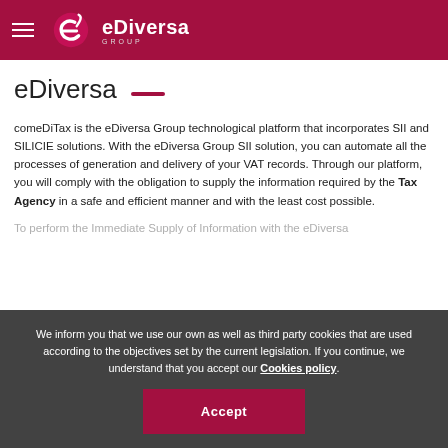eDiversa Group — navigation header with logo
eDiversa
comeDiTax is the eDiversa Group technological platform that incorporates SII and SILICIE solutions. With the eDiversa Group SII solution, you can automate all the processes of generation and delivery of your VAT records. Through our platform, you will comply with the obligation to supply the information required by the Tax Agency in a safe and efficient manner and with the least cost possible.
To perform the Immediate Supply of Information with the eDiversa
We inform you that we use our own as well as third party cookies that are used according to the objectives set by the current legislation. If you continue, we understand that you accept our Cookies policy.